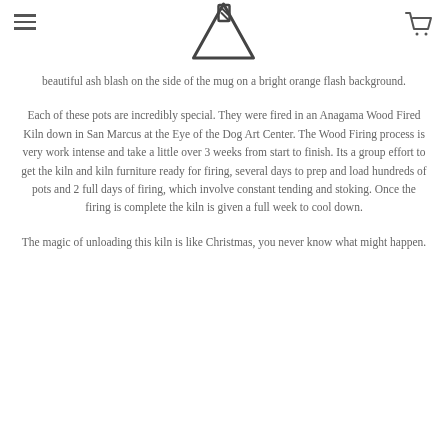Navigation header with hamburger menu, logo icon, and cart icon
beautiful ash blash on the side of the mug on a bright orange flash background.
Each of these pots are incredibly special. They were fired in an Anagama Wood Fired Kiln down in San Marcus at the Eye of the Dog Art Center. The Wood Firing process is very work intense and take a little over 3 weeks from start to finish. Its a group effort to get the kiln and kiln furniture ready for firing, several days to prep and load hundreds of pots and 2 full days of firing, which involve constant tending and stoking. Once the firing is complete the kiln is given a full week to cool down.
The magic of unloading this kiln is like Christmas, you never know what might happen.